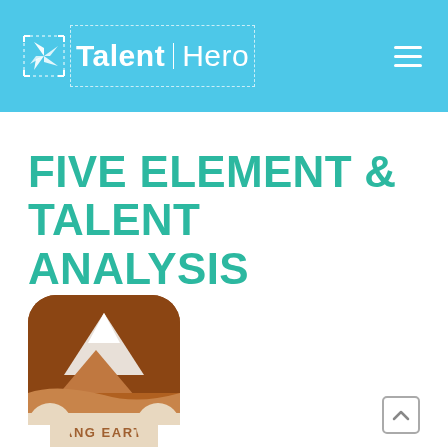Talent Hero
FIVE ELEMENT & TALENT ANALYSIS
[Figure (illustration): Yang Earth element icon: a rounded-square app icon showing brown and tan mountain silhouettes against a white background, with 'YANG EARTH' label at the bottom in brown text on a light background.]